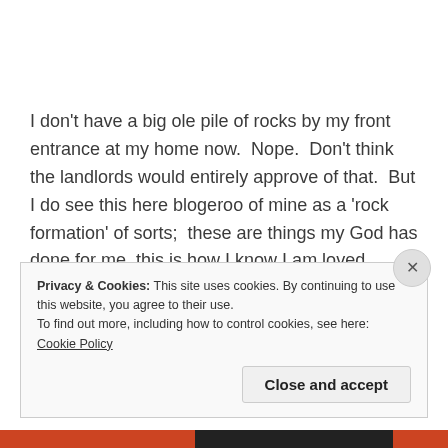I don't have a big ole pile of rocks by my front entrance at my home now.  Nope.  Don't think the landlords would entirely approve of that.  But I do see this here blogeroo of mine as a 'rock formation' of sorts;  these are things my God has done for me, this is how I know I am loved beyond measure, and I have hope for every situation.
Privacy & Cookies: This site uses cookies. By continuing to use this website, you agree to their use.
To find out more, including how to control cookies, see here: Cookie Policy